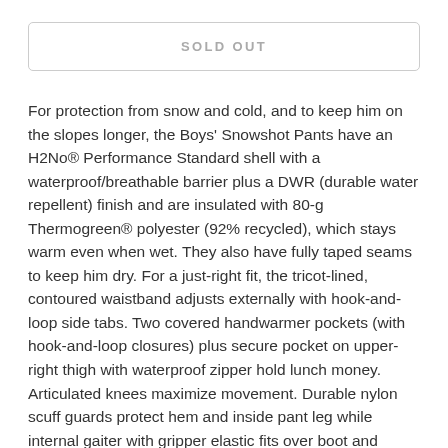SOLD OUT
For protection from snow and cold, and to keep him on the slopes longer, the Boys' Snowshot Pants have an H2No® Performance Standard shell with a waterproof/breathable barrier plus a DWR (durable water repellent) finish and are insulated with 80-g Thermogreen® polyester (92% recycled), which stays warm even when wet. They also have fully taped seams to keep him dry. For a just-right fit, the tricot-lined, contoured waistband adjusts externally with hook-and-loop side tabs. Two covered handwarmer pockets (with hook-and-loop closures) plus secure pocket on upper-right thigh with waterproof zipper hold lunch money. Articulated knees maximize movement. Durable nylon scuff guards protect hem and inside pant leg while internal gaiter with gripper elastic fits over boot and keeps out snow and cold. In addition, a tab inside each pant leg snaps under a loop on the back of leg to keep cuffs off the ground when walking to and from the slopes. Our